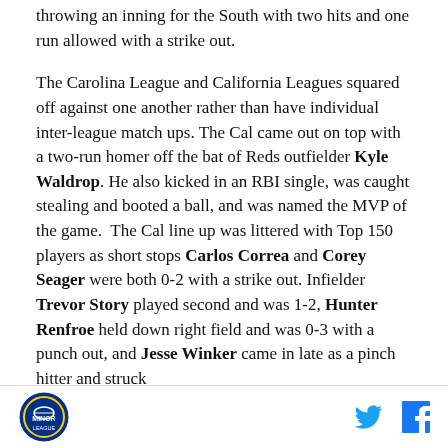throwing an inning for the South with two hits and one run allowed with a strike out.
The Carolina League and California Leagues squared off against one another rather than have individual inter-league match ups. The Cal came out on top with a two-run homer off the bat of Reds outfielder Kyle Waldrop. He also kicked in an RBI single, was caught stealing and booted a ball, and was named the MVP of the game.  The Cal line up was littered with Top 150 players as short stops Carlos Correa and Corey Seager were both 0-2 with a strike out. Infielder Trevor Story played second and was 1-2, Hunter Renfroe held down right field and was 0-3 with a punch out, and Jesse Winker came in late as a pinch hitter and struck
Logo | Twitter | Facebook